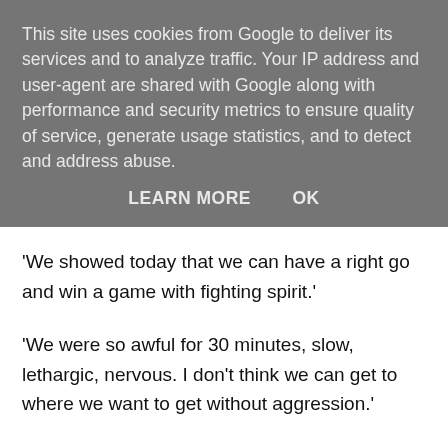This site uses cookies from Google to deliver its services and to analyze traffic. Your IP address and user-agent are shared with Google along with performance and security metrics to ensure quality of service, generate usage statistics, and to detect and address abuse.
LEARN MORE    OK
'We showed today that we can have a right go and win a game with fighting spirit.'
'We were so awful for 30 minutes, slow, lethargic, nervous. I don't think we can get to where we want to get without aggression.'
'We've had the majority of possession in every League game we've played but we're fourth for a reason so we can get